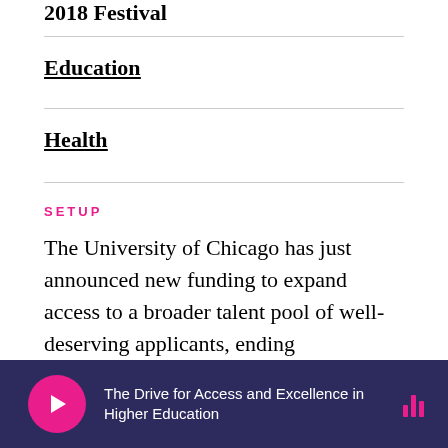2018 Festival
Education
Health
SETUP
The University of Chicago has just announced new funding to expand access to a broader talent pool of well-deserving applicants, ending requirements to send in scores for ACT and SAT tests. The College Board has revised the SAT to emphasize classroom study and offers free practice tests through top online-ed site Khan Academy, to give every student the opportunity to
The Drive for Access and Excellence in Higher Education